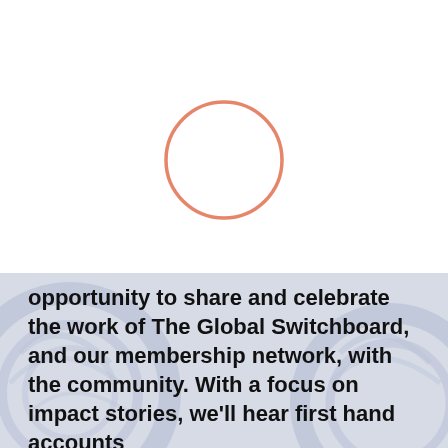[Figure (other): A small salmon/coral colored circle outline centered in the upper portion of the page, on a white background.]
opportunity to share and celebrate the work of The Global Switchboard, and our membership network, with the community. With a focus on impact stories, we'll hear first hand accounts